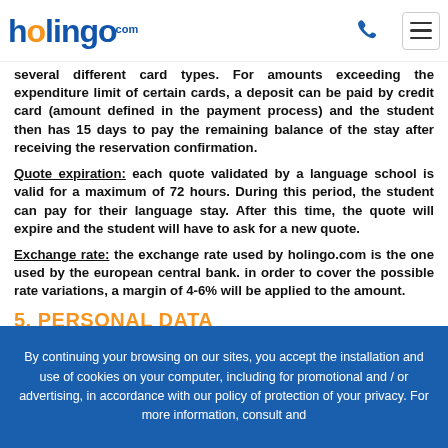holingo.com
several different card types. For amounts exceeding the expenditure limit of certain cards, a deposit can be paid by credit card (amount defined in the payment process) and the student then has 15 days to pay the remaining balance of the stay after receiving the reservation confirmation.
Quote expiration: each quote validated by a language school is valid for a maximum of 72 hours. During this period, the student can pay for their language stay. After this time, the quote will expire and the student will have to ask for a new quote.
Exchange rate: the exchange rate used by holingo.com is the one used by the european central bank. in order to cover the possible rate variations, a margin of 4-6% will be applied to the amount.
5. PERSONAL DATA
Creating an account: when creating an account, the student will be asked for their contact details in order that they can be contacted and they satisfaction can be ensured. in accordance with the french
By continuing your browsing on our sites, you accept the installation and use of cookies on your computer, including for promotional and / or advertising, in accordance with our policy of protection of your privacy. For more information, consult and